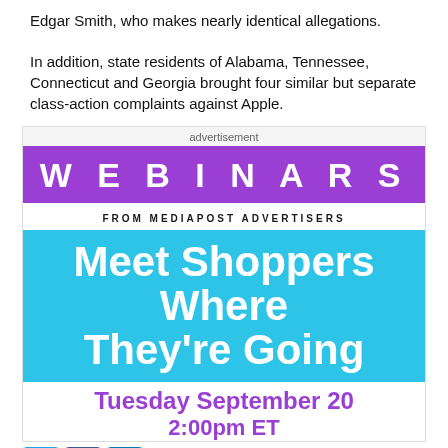Edgar Smith, who makes nearly identical allegations.
In addition, state residents of Alabama, Tennessee, Connecticut and Georgia brought four similar but separate class-action complaints against Apple.
[Figure (infographic): Advertisement banner for MediaPost Webinars titled 'Meet Shoppers Where They’re Going' scheduled for Tuesday September 20, 2:00pm ET. Features purple top bar with 'WEBINARS' text, cyan/blue main body with white bold headline, and purple event date/time text below.]
PRESENTED BY